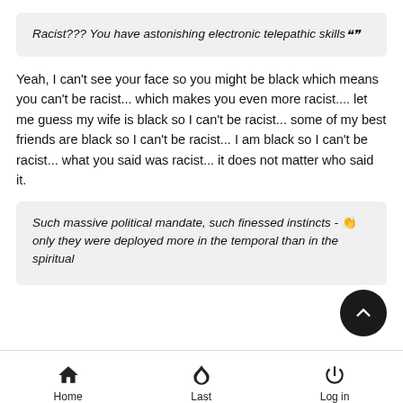Racist??? You have astonishing electronic telepathic skills
Yeah, I can't see your face so you might be black which means you can't be racist... which makes you even more racist.... let me guess my wife is black so I can't be racist... some of my best friends are black so I can't be racist... I am black so I can't be racist... what you said was racist... it does not matter who said it.
Such massive political mandate, such finessed instincts - if only they were deployed more in the temporal than in the spiritual
Home  Last  Log in